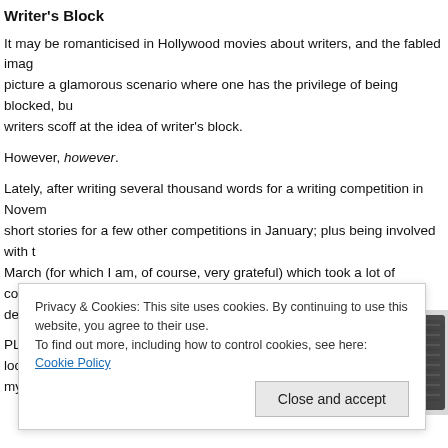Writer's Block
It may be romanticised in Hollywood movies about writers, and the fabled image picture a glamorous scenario where one has the privilege of being blocked, but writers scoff at the idea of writer's block.
However, however.
Lately, after writing several thousand words for a writing competition in November short stories for a few other competitions in January; plus being involved with t March (for which I am, of course, very grateful) which took a lot of concentration decently written proposal.
PLUS the enervating, all-consuming, life-sucking, hope-sieving effects of lockd my well had run dry.
[Figure (photo): Partial image of a notebook or keyboard, partially visible at bottom right of the page]
Privacy & Cookies: This site uses cookies. By continuing to use this website, you agree to their use.
To find out more, including how to control cookies, see here: Cookie Policy
Close and accept